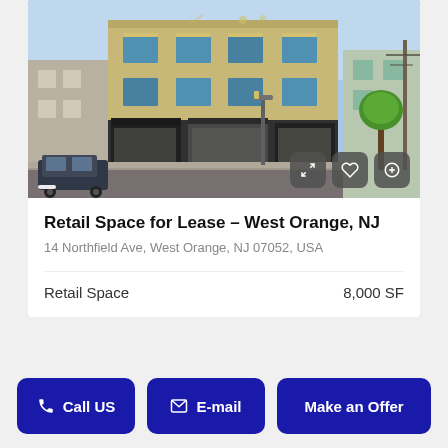[Figure (photo): Street-level photo of a multi-story brick commercial building at 14 Northfield Ave, West Orange, NJ. The building has retail storefronts on the ground floor and upper-story windows. There is a street lamp and sidewalk visible.]
Retail Space for Lease – West Orange, NJ
14 Northfield Ave, West Orange, NJ 07052, USA
Retail Space	8,000 SF